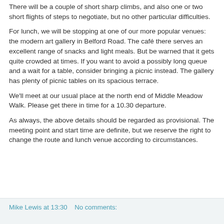There will be a couple of short sharp climbs, and also one or two short flights of steps to negotiate, but no other particular difficulties.
For lunch, we will be stopping at one of our more popular venues: the modern art gallery in Belford Road. The café there serves an excellent range of snacks and light meals. But be warned that it gets quite crowded at times. If you want to avoid a possibly long queue and a wait for a table, consider bringing a picnic instead. The gallery has plenty of picnic tables on its spacious terrace.
We'll meet at our usual place at the north end of Middle Meadow Walk. Please get there in time for a 10.30 departure.
As always, the above details should be regarded as provisional. The meeting point and start time are definite, but we reserve the right to change the route and lunch venue according to circumstances.
Mike Lewis at 13:30   No comments: